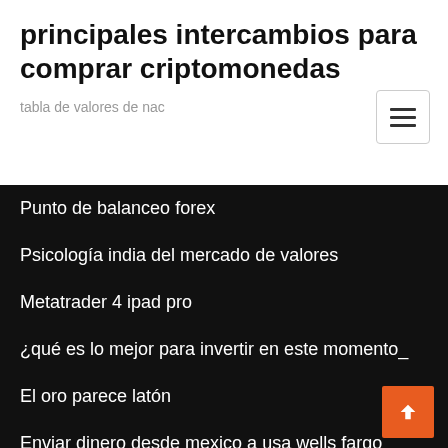principales intercambios para comprar criptomonedas
tabla de valores de nac
Punto de balanceo forex
Psicología india del mercado de valores
Metatrader 4 ipad pro
¿qué es lo mejor para invertir en este momento_
El oro parece latón
Enviar dinero desde mexico a usa wells fargo
Precio del barril de petróleo crudo en nigeria
Análisis técnico de existencias y análisis fundamental